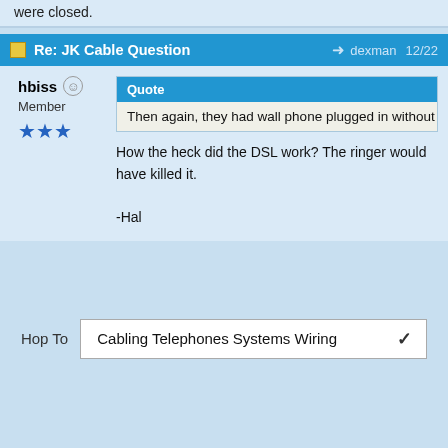were closed.
Re: JK Cable Question   dexman  12/22
hbiss  Member  ★★★
Quote
Then again, they had wall phone plugged in without a DSL filter for
How the heck did the DSL work? The ringer would have killed it.

-Hal
Hop To   Cabling Telephones Systems Wiring